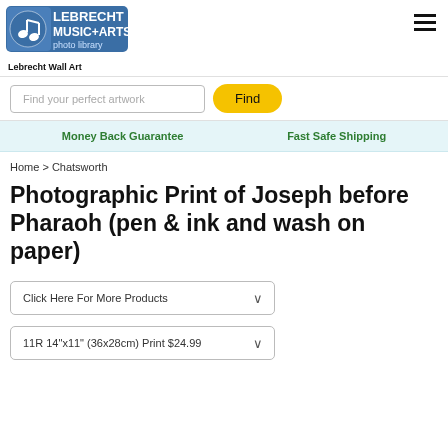[Figure (logo): Lebrecht Music+Arts Photo Library logo with musical note graphic]
Lebrecht Wall Art
Find your perfect artwork
Find
Money Back Guarantee
Fast Safe Shipping
Home > Chatsworth
Photographic Print of Joseph before Pharaoh (pen & ink and wash on paper)
Click Here For More Products
11R 14"x11" (36x28cm) Print $24.99